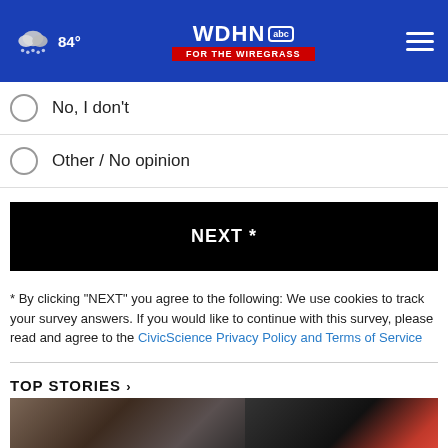WDHN ABC FOR THE WIREGRASS — 84°
No, I don't
Other / No opinion
NEXT *
* By clicking "NEXT" you agree to the following: We use cookies to track your survey answers. If you would like to continue with this survey, please read and agree to the CivicScience Privacy Policy and Terms of Service
TOP STORIES ›
[Figure (photo): Partial view of a news story image, appears to show a decorative or sculptural object on the left and a colorful graphic on the right with red and blue tones]